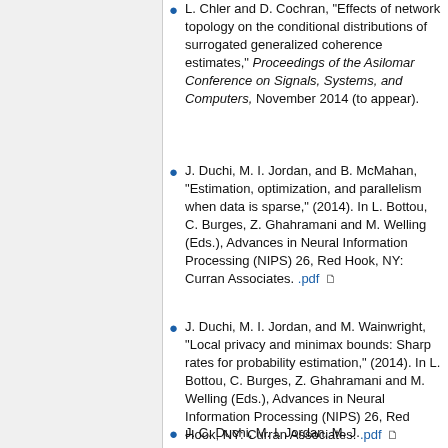L. Chler and D. Cochran, "Effects of network topology on the conditional distributions of surrogated generalized coherence estimates," Proceedings of the Asilomar Conference on Signals, Systems, and Computers, November 2014 (to appear).
J. Duchi, M. I. Jordan, and B. McMahan, "Estimation, optimization, and parallelism when data is sparse," (2014). In L. Bottou, C. Burges, Z. Ghahramani and M. Welling (Eds.), Advances in Neural Information Processing (NIPS) 26, Red Hook, NY: Curran Associates. .pdf
J. Duchi, M. I. Jordan, and M. Wainwright, "Local privacy and minimax bounds: Sharp rates for probability estimation," (2014). In L. Bottou, C. Burges, Z. Ghahramani and M. Welling (Eds.), Advances in Neural Information Processing (NIPS) 26, Red Hook, NY: Curran Associates. .pdf
J. C. Duchi, M. I. Jordan, M. J.